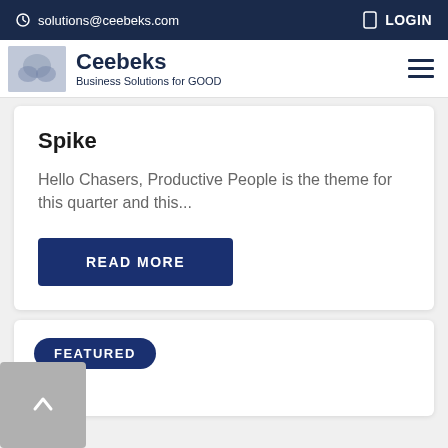solutions@ceebeks.com  LOGIN
[Figure (logo): Ceebeks logo with handshake image, brand name Ceebeks and tagline Business Solutions for GOOD]
Spike
Hello Chasers, Productive People is the theme for this quarter and this...
READ MORE
FEATURED